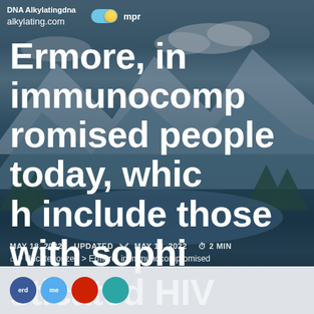DNA Alkylatingdna alkylating.com
Ermore, in immunocompromised people today, which include those with sophisticated HIV infectionErmore, in immunocompromised individuals,
MAY 18, 2022   UPDATED MAY 18, 2022   2 MIN
> Uncategorized > Ermore, in immunocompromised
Social sharing icons